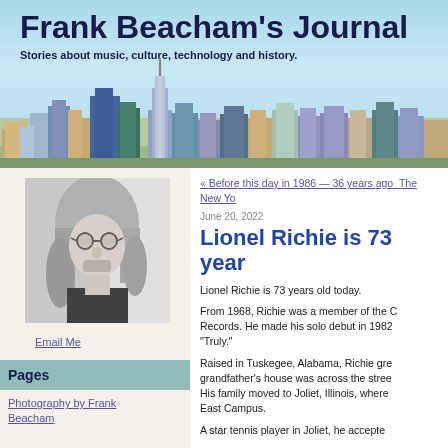Frank Beacham's Journal
Stories about music, culture, technology and history.
[Figure (illustration): Stylized city skyline illustration with buildings in blue, green, teal, orange, and purple against a light blue sky background.]
[Figure (photo): Black and white portrait photo of a man with long gray hair and round glasses.]
Email Me
Pages
Photography by Frank Beacham
« Before this day in 1986 — 36 years ago
The New Yo
June 20, 2022
Lionel Richie is 73 year
Lionel Richie is 73 years old today.

From 1968, Richie was a member of the Commodores with Motown Records. He made his solo debut in 1982 with the song "Truly."

Raised in Tuskegee, Alabama, Richie grew up on the campus of Tuskegee Institute; his grandfather's house was across the street from the football field. His family moved to Joliet, Illinois, where he lived in the East Campus.

A star tennis player in Joliet, he accepted...